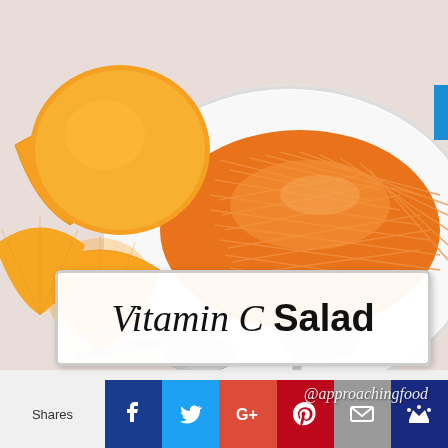[Figure (photo): Photo of shredded carrot salad on a white plate with orange slices on a white surface with spoons, overhead view]
Vitamin C Salad
[Figure (photo): Small thumbnail strip of a second food photo with @approachingfood watermark]
Shares
Social sharing buttons: Facebook, Twitter, Google+, Pinterest, Email, Crown